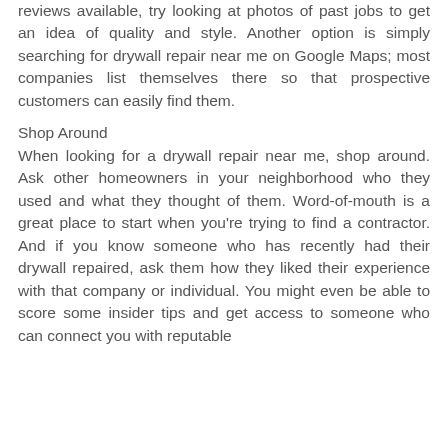reviews available, try looking at photos of past jobs to get an idea of quality and style. Another option is simply searching for drywall repair near me on Google Maps; most companies list themselves there so that prospective customers can easily find them.
Shop Around
When looking for a drywall repair near me, shop around. Ask other homeowners in your neighborhood who they used and what they thought of them. Word-of-mouth is a great place to start when you're trying to find a contractor. And if you know someone who has recently had their drywall repaired, ask them how they liked their experience with that company or individual. You might even be able to score some insider tips and get access to someone who can connect you with reputable